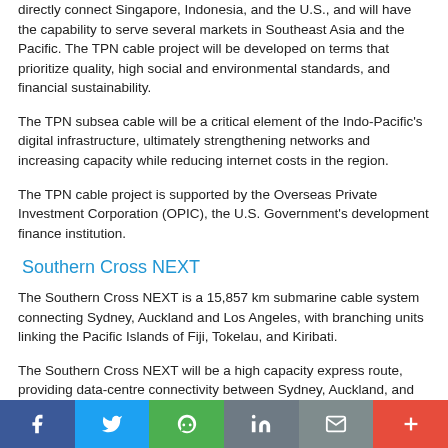directly connect Singapore, Indonesia, and the U.S., and will have the capability to serve several markets in Southeast Asia and the Pacific. The TPN cable project will be developed on terms that prioritize quality, high social and environmental standards, and financial sustainability.
The TPN subsea cable will be a critical element of the Indo-Pacific's digital infrastructure, ultimately strengthening networks and increasing capacity while reducing internet costs in the region.
The TPN cable project is supported by the Overseas Private Investment Corporation (OPIC), the U.S. Government's development finance institution.
Southern Cross NEXT
The Southern Cross NEXT is a 15,857 km submarine cable system connecting Sydney, Auckland and Los Angeles, with branching units linking the Pacific Islands of Fiji, Tokelau, and Kiribati.
The Southern Cross NEXT will be a high capacity express route, providing data-centre connectivity between Sydney, Auckland, and Los Angeles, to be the lowest latency path from Australia and New